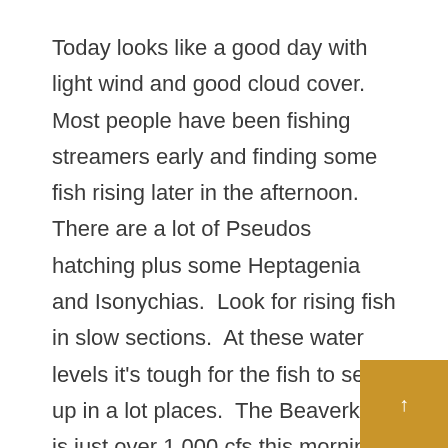Today looks like a good day with light wind and good cloud cover.  Most people have been fishing streamers early and finding some fish rising later in the afternoon.  There are a lot of Pseudos hatching plus some Heptagenia and Isonychias.  Look for rising fish in slow sections.  At these water levels it's tough for the fish to set up in a lot places.  The Beaverkill is just over 1,000 cfs this morning so barring anymore rain we should see some wade opportunities open up there over the next few days.  The headwaters of the Beaverkill and Willowemoc should offer some wade opportunities today.  The West and East